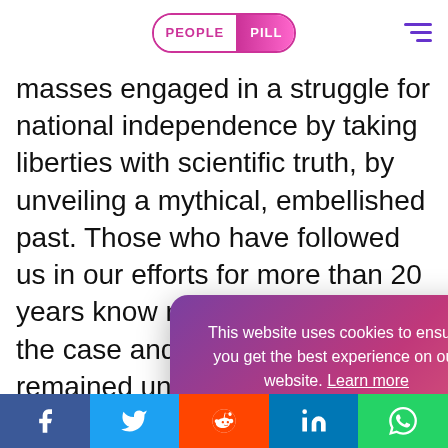PEOPLE PILL
masses engaged in a struggle for national independence by taking liberties with scientific truth, by unveiling a mythical, embellished past. Those who have followed us in our efforts for more than 20 years know now that this was not the case and that this fear remained unfounded." Diop was highly critical of "the most brilliant pseudo-revolutionary eloquence that ignores the need" for rebuilding [...]ich must be met [...]and politically."
This website uses cookies to ensure you get the best experience on our website. Learn more
Got it!
Diop believed[...]independence[...]ing